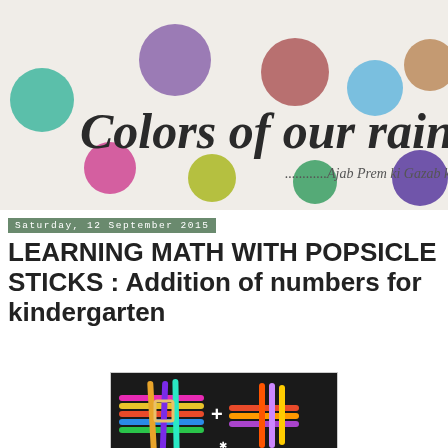[Figure (illustration): Colors of our rainbow blog banner with colorful circles/dots and cursive text reading 'Colors of our rainbow' with subtitle '...Ajab Prem ki Gazab kahani']
Saturday, 12 September 2015
LEARNING MATH WITH POPSICLE STICKS : Addition of numbers for kindergarten
[Figure (photo): Photo of colorful popsicle sticks arranged in cross/plus sign patterns on a dark background]